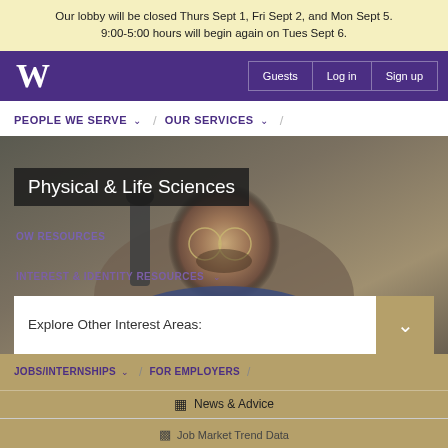Our lobby will be closed Thurs Sept 1, Fri Sept 2, and Mon Sept 5. 9:00-5:00 hours will begin again on Tues Sept 6.
W | Guests | Log in | Sign up
PEOPLE WE SERVE / OUR SERVICES /
[Figure (photo): A man looking through a microscope, closeup portrait]
Physical & Life Sciences
OW RESOURCES
INTEREST & IDENTITY RESOURCES
Explore Other Interest Areas:
JOBS/INTERNSHIPS / FOR EMPLOYERS /
News & Advice
Job Market Trend Data